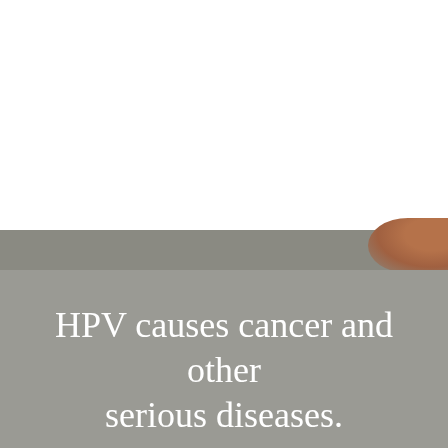[Figure (photo): A photo showing a person, partially visible; upper portion is white/blank, lower portion shows a grey-toned background with a partial view of a person's head/shoulder in the upper right corner. The lower half of the image has a grey overlay.]
HPV causes cancer and other serious diseases.